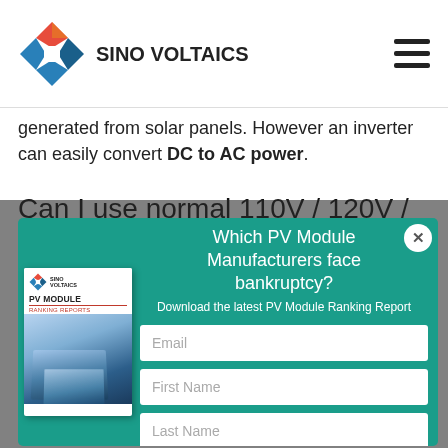[Figure (logo): Sino Voltaics logo with diamond shape in blue/orange/red colors and text SINO VOLTAICS]
generated from solar panels. However an inverter can easily convert DC to AC power.
Can I use normal 110V / 120V /
[Figure (screenshot): Popup modal on teal background asking 'Which PV Module Manufacturers face bankruptcy?' with email/first name/last name form fields and a PV Module Ranking Reports book cover image on the left]
Which PV Module Manufacturers face bankruptcy?
Download the latest PV Module Ranking Report